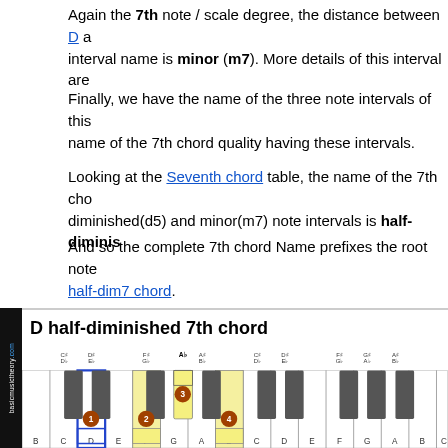Again the 7th note / scale degree, the distance between D a... interval name is minor (m7). More details of this interval are...
Finally, we have the name of the three note intervals of this... name of the 7th chord quality having these intervals.
Looking at the Seventh chord table, the name of the 7th cho... diminished(d5) and minor(m7) note intervals is half-diminis...
And so the complete 7th chord Name prefixes the root note... half-dim7 chord.
[Figure (illustration): Piano keyboard diagram showing D half-diminished 7th chord with keys D, F, Ab, C highlighted with numbered circles 1-4. Black and white piano keys shown with note names above black keys (C#/Db, D#/Eb, F#/Gb, A#/Bb etc.) and below white keys (B C D E F G A B D E F G A B C). D has a blue box, F and C have yellow boxes, Ab is highlighted yellow among black keys.]